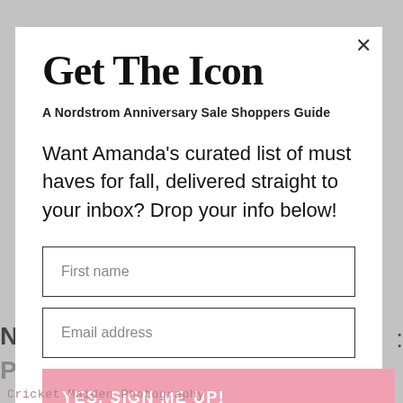Get The Icon
A Nordstrom Anniversary Sale Shoppers Guide
Want Amanda's curated list of must haves for fall, delivered straight to your inbox? Drop your info below!
First name
Email address
YES, SIGN ME UP!
Cricket Maiden Photography